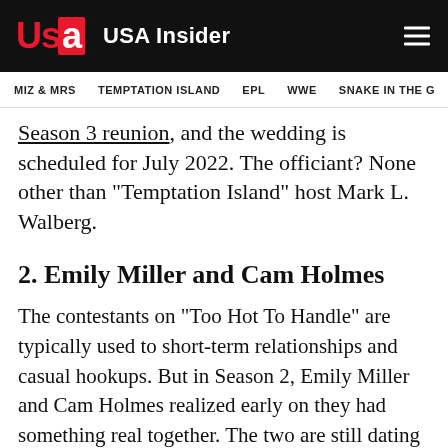USA Insider
MIZ & MRS   TEMPTATION ISLAND   EPL   WWE   SNAKE IN THE G
Season 3 reunion, and the wedding is scheduled for July 2022. The officiant? None other than "Temptation Island" host Mark L. Walberg.
2. Emily Miller and Cam Holmes
The contestants on "Too Hot To Handle" are typically used to short-term relationships and casual hookups. But in Season 2, Emily Miller and Cam Holmes realized early on they had something real together. The two are still dating to this day, although there have been some setbacks: In June 2022, Emily revealed she had suffered an ectopic pregnancy and